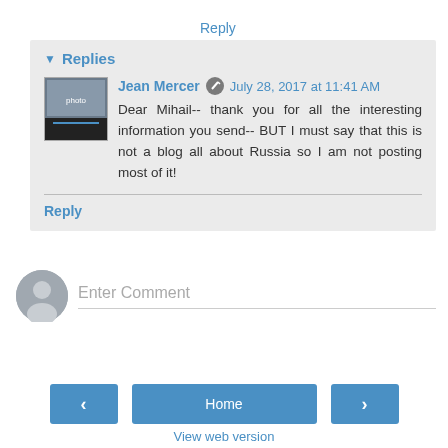Reply
▾ Replies
Jean Mercer  July 28, 2017 at 11:41 AM
Dear Mihail-- thank you for all the interesting information you send-- BUT I must say that this is not a blog all about Russia so I am not posting most of it!
Reply
Enter Comment
Home
View web version